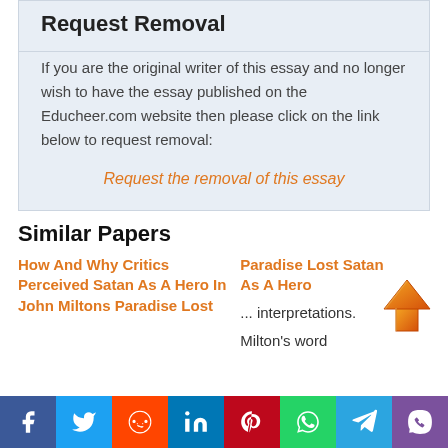Request Removal
If you are the original writer of this essay and no longer wish to have the essay published on the Educheer.com website then please click on the link below to request removal:
Request the removal of this essay
Similar Papers
How And Why Critics Perceived Satan As A Hero In John Miltons Paradise Lost
Paradise Lost Satan As A Hero
... interpretations. Milton's word